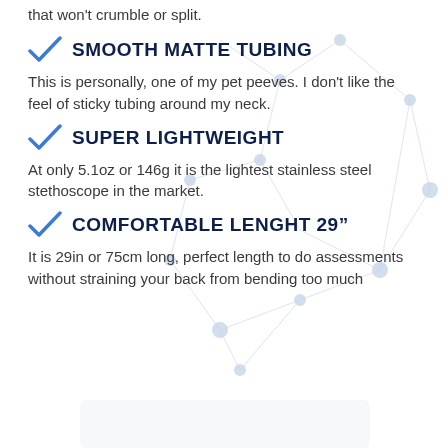that won't crumble or split.
SMOOTH MATTE TUBING
This is personally, one of my pet peeves. I don't like the feel of sticky tubing around my neck.
SUPER LIGHTWEIGHT
At only 5.1oz or 146g it is the lightest stainless steel stethoscope in the market.
COMFORTABLE LENGHT 29"
It is 29in or 75cm long, perfect length to do assessments without straining your back from bending too much